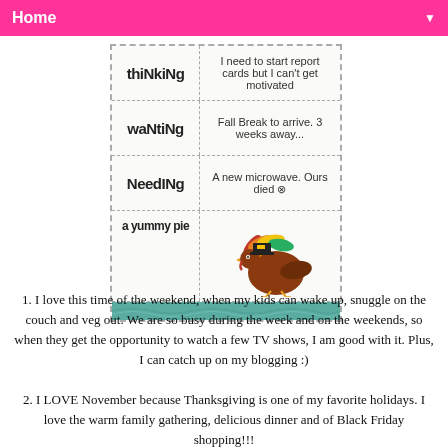Home ▼
[Figure (infographic): A Thanksgiving-themed card with four rows: thinking, wanting, needing, and a yummy pie section with a cartoon turkey illustration. Rows show: thinking - I need to start report cards but I can't get motivated; wanting - Fall Break to arrive. 3 weeks away...; needing - A new microwave. Ours died; a yummy pie - illustrated with a cartoon turkey running with a pilgrim hat.]
1. I love this time of the weekend, when my kids can wake up, snuggle on the couch and veg out. We are so busy during the week and on the weekends, so when they get the opportunity to watch a few TV shows, I am good with it. Plus, I can catch up on my blogging :)
2. I LOVE November because Thanksgiving is one of my favorite holidays. I love the warm family gathering, delicious dinner and of Black Friday shopping!!!